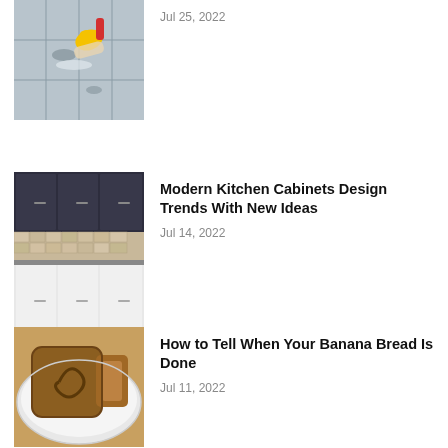[Figure (photo): Person with yellow gloves cleaning tiles/flooring]
Jul 25, 2022
[Figure (photo): Modern dark kitchen cabinets with white lower cabinets and tile backsplash]
Modern Kitchen Cabinets Design Trends With New Ideas
Jul 14, 2022
[Figure (photo): Sliced banana bread on a plate]
How to Tell When Your Banana Bread Is Done
Jul 11, 2022
Ways to Plan Your New Kitchen Interior
Jul 7, 2022
Kitchen Remodeling Planning